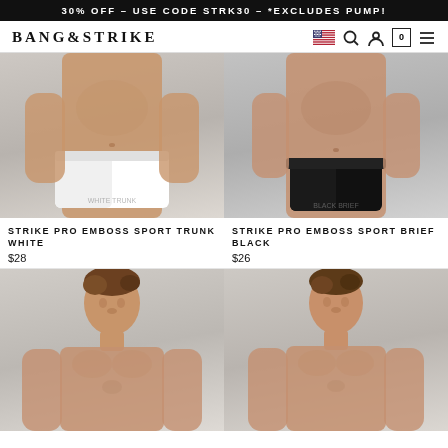30% OFF - USE CODE STRK30 - *EXCLUDES PUMP!
BANG&STRIKE
[Figure (photo): Male model wearing white trunk underwear, torso shot on light background]
[Figure (photo): Male model wearing black brief underwear, torso shot on light background]
STRIKE PRO EMBOSS SPORT TRUNK WHITE
$28
STRIKE PRO EMBOSS SPORT BRIEF BLACK
$26
[Figure (photo): Male model, shirtless, head and chest visible, light background]
[Figure (photo): Male model, shirtless, head and chest visible, light background]